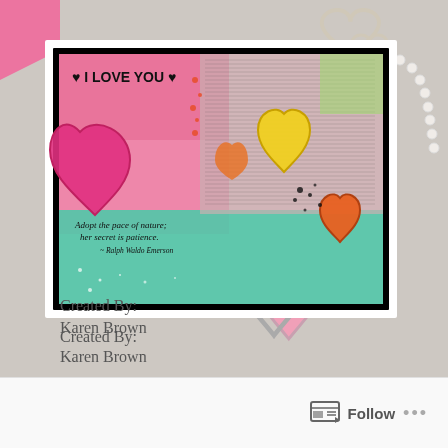[Figure (photo): A crafted greeting card with mixed media art featuring hearts in pink, yellow, and orange on a colorful background with text 'I LOVE YOU' and a quote. The card is framed in white with a black inner border, surrounded by craft supplies including scissors, heart-shaped cookie cutters, and pearl beads on a light background.]
Created By:
Karen Brown
Follow ...